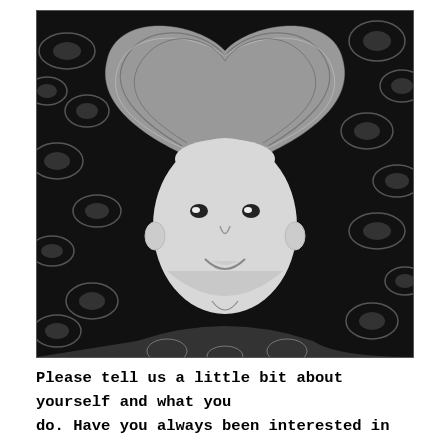[Figure (photo): Black and white photograph of a woman lying down, looking up at the camera with a smile. Her long light-colored hair is spread out above her head in a heart shape. She is wearing a floral patterned garment. The background shows a dark floral fabric.]
Please tell us a little bit about yourself and what you do. Have you always been interested in